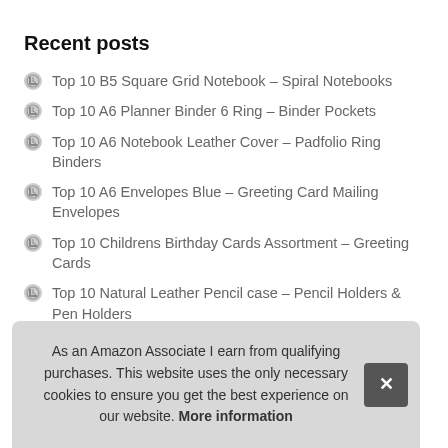Recent posts
Top 10 B5 Square Grid Notebook – Spiral Notebooks
Top 10 A6 Planner Binder 6 Ring – Binder Pockets
Top 10 A6 Notebook Leather Cover – Padfolio Ring Binders
Top 10 A6 Envelopes Blue – Greeting Card Mailing Envelopes
Top 10 Childrens Birthday Cards Assortment – Greeting Cards
Top 10 Natural Leather Pencil case – Pencil Holders & Pen Holders
T…
T…
As an Amazon Associate I earn from qualifying purchases. This website uses the only necessary cookies to ensure you get the best experience on our website. More information